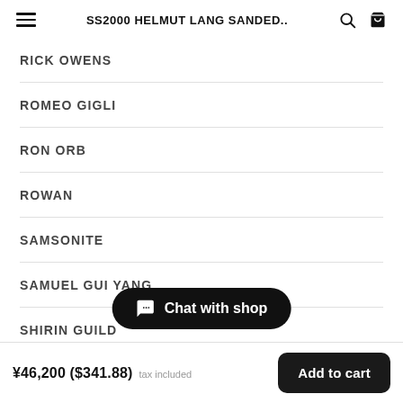SS2000 HELMUT LANG SANDED..
RICK OWENS
ROMEO GIGLI
RON ORB
ROWAN
SAMSONITE
SAMUEL GUI YANG
SHIRIN GUILD
Chat with shop
¥46,200 ($341.88) tax included  Add to cart